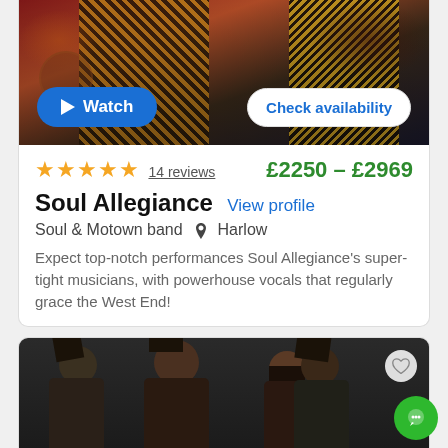[Figure (photo): Performance photo of musicians on stage with glittery/patterned costumes on dark red background, with Watch and Check availability buttons overlaid]
★★★★★  14 reviews   £2250 – £2969
Soul Allegiance  View profile
Soul & Motown band  📍 Harlow
Expect top-notch performances Soul Allegiance's super-tight musicians, with powerhouse vocals that regularly grace the West End!
[Figure (photo): Group photo of four musicians wearing black fedora hats against dark background, with a heart/favorite icon overlay]